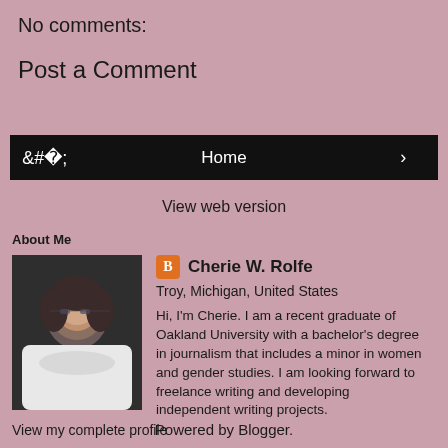No comments:
Post a Comment
‹ Home ›
View web version
About Me
[Figure (photo): Profile photo of Cherie W. Rolfe, a woman with dark hair and glasses wearing a white top, against a dark background]
Cherie W. Rolfe
Troy, Michigan, United States
Hi, I'm Cherie. I am a recent graduate of Oakland University with a bachelor's degree in journalism that includes a minor in women and gender studies. I am looking forward to freelance writing and developing independent writing projects.
View my complete profile
Powered by Blogger.